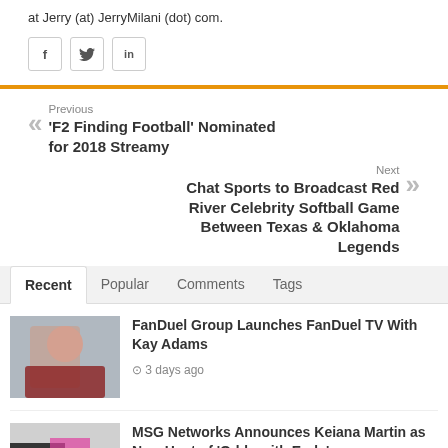at Jerry (at) JerryMilani (dot) com.
[Figure (other): Social share icons: Facebook (f), Twitter (bird), LinkedIn (in)]
Previous
'F2 Finding Football' Nominated for 2018 Streamy
Next
Chat Sports to Broadcast Red River Celebrity Softball Game Between Texas & Oklahoma Legends
Recent | Popular | Comments | Tags
FanDuel Group Launches FanDuel TV With Kay Adams
3 days ago
MSG Networks Announces Keiana Martin as New Host of 'Odds with Ends'
5 days ago